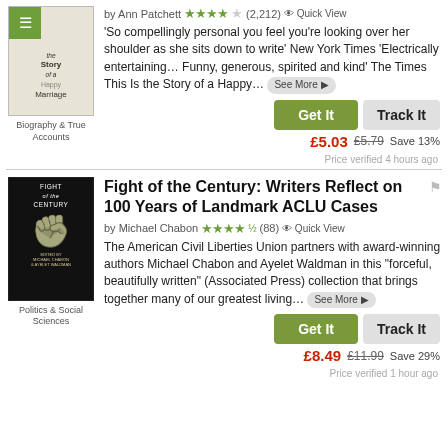[Figure (illustration): Book cover for 'This Is the Story of a Happy Marriage' with green menu icon overlay]
by Ann Patchett ★★★★☆ (2,212) Quick View
'So compellingly personal you feel you're looking over her shoulder as she sits down to write' New York Times 'Electrically entertaining... Funny, generous, spirited and kind' The Times This Is the Story of a Happy... See More
Get It   Track It
£5.03  £5.79  Save 13%
Biography & True Accounts
Price verified 4 hours ago
[Figure (illustration): Book cover for 'Fight of the Century' with black background and raised fist image]
Fight of the Century: Writers Reflect on 100 Years of Landmark ACLU Cases
by Michael Chabon ★★★★½ (88) Quick View
The American Civil Liberties Union partners with award-winning authors Michael Chabon and Ayelet Waldman in this "forceful, beautifully written" (Associated Press) collection that brings together many of our greatest living... See More
Get It   Track It
£8.49  £11.99  Save 29%
Politics & Social Sciences
Price verified 1 hour ago